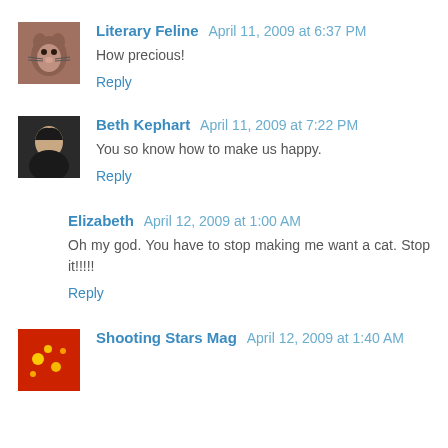Literary Feline April 11, 2009 at 6:37 PM
How precious!
Reply
Beth Kephart April 11, 2009 at 7:22 PM
You so know how to make us happy.
Reply
Elizabeth April 12, 2009 at 1:00 AM
Oh my god. You have to stop making me want a cat. Stop it!!!!!
Reply
Shooting Stars Mag April 12, 2009 at 1:40 AM